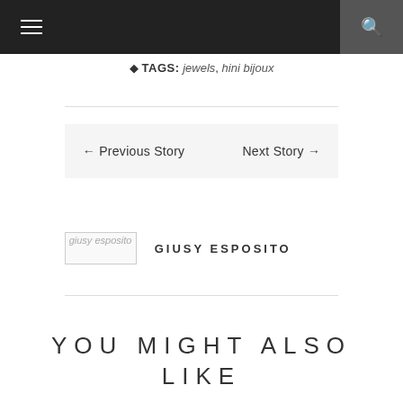Navigation bar with menu and search icons
TAGS: jewels, hini bijoux
← Previous Story   Next Story →
giusy esposito   GIUSY ESPOSITO
YOU MIGHT ALSO LIKE